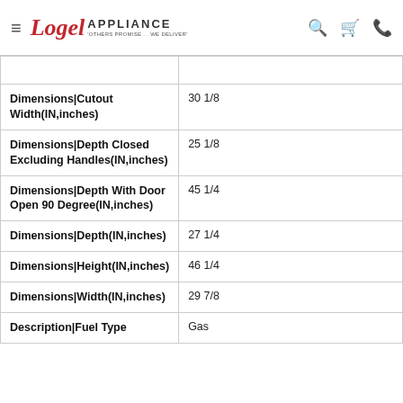Logel Appliance — 'Others Promise... We Deliver'
| Attribute | Value |
| --- | --- |
| Dimensions|Cutout Width(IN,inches) | 30 1/8 |
| Dimensions|Depth Closed Excluding Handles(IN,inches) | 25 1/8 |
| Dimensions|Depth With Door Open 90 Degree(IN,inches) | 45 1/4 |
| Dimensions|Depth(IN,inches) | 27 1/4 |
| Dimensions|Height(IN,inches) | 46 1/4 |
| Dimensions|Width(IN,inches) | 29 7/8 |
| Description|Fuel Type | Gas |